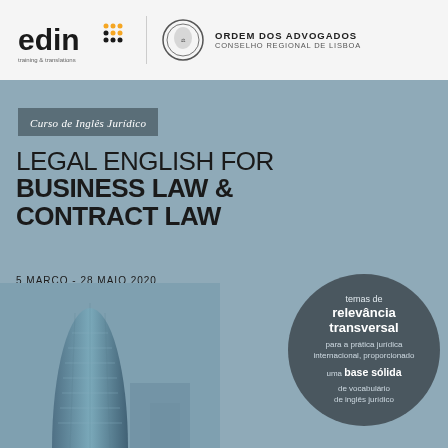[Figure (logo): Edin training & translations logo with dot grid motif in orange, and Ordem dos Advogados / Conselho Regional de Lisboa seal and text]
Curso de Inglês Jurídico
LEGAL ENGLISH FOR BUSINESS LAW & CONTRACT LAW
5 MARÇO - 28 MAIO 2020
Conselho Regional de Lisboa
Rua de Santa Bárbara, 46 | Lisboa
[Figure (illustration): Modern curved glass skyscraper (Gherkin-style building) in blue-grey tones]
temas de relevância transversal para a prática jurídica internacional, proporcionado uma base sólida de vocabulário de inglês jurídico